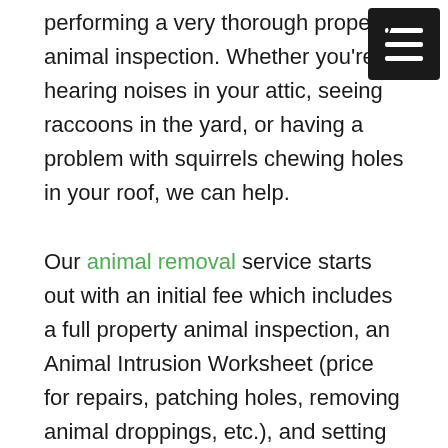performing a very thorough property animal inspection. Whether you're hearing noises in your attic, seeing raccoons in the yard, or having a problem with squirrels chewing holes in your roof, we can help.

Our animal removal service starts out with an initial fee which includes a full property animal inspection, an Animal Intrusion Worksheet (price for repairs, patching holes, removing animal droppings, etc.), and setting up traps to catch the animals. We send out 1-2 wildlife control specialists to do this. The inspection process generally takes 1-2 hours. We will inspect the roof, soffits, vents, attics, crawl space, foundation, deck, porch, patio, and anywhere else you would like us to inspect. Our wildlife specialists will determine what animal problem